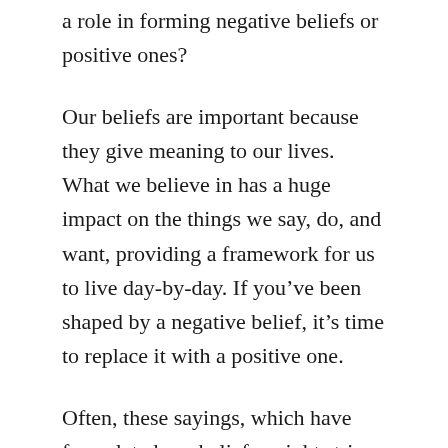a role in forming negative beliefs or positive ones?
Our beliefs are important because they give meaning to our lives. What we believe in has a huge impact on the things we say, do, and want, providing a framework for us to live day-by-day. If you’ve been shaped by a negative belief, it’s time to replace it with a positive one.
Often, these sayings, which have formulated our beliefs, might strip us of the motivation or inspiration to achieve more in life, feeling like the status quo is all that we’re worth. By rewriting negative sayings and reshaping our beliefs, we can find meaning in things we might have thought were beyond our reach in the past. It’s easier said than done and will involve